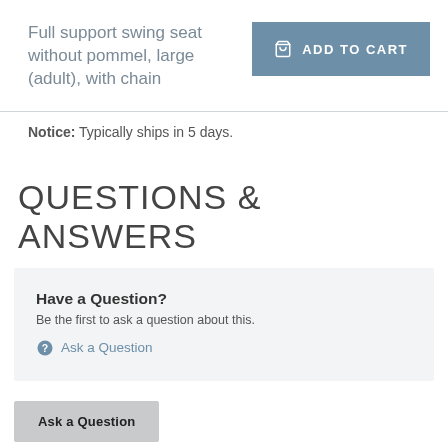Full support swing seat without pommel, large (adult), with chain
ADD TO CART
Notice: Typically ships in 5 days.
QUESTIONS & ANSWERS
Have a Question?
Be the first to ask a question about this.
Ask a Question
Ask a Question